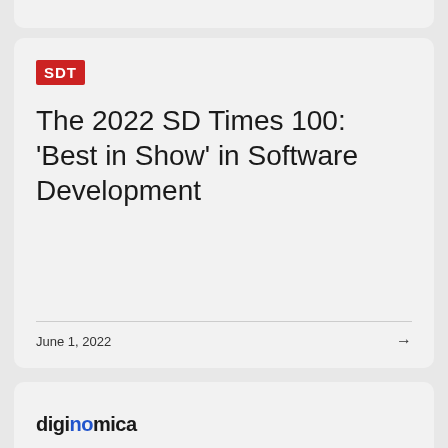[Figure (logo): SDT logo — white text on red background]
The 2022 SD Times 100: 'Best in Show' in Software Development
June 1, 2022
[Figure (logo): diginomica logo in black and blue text]